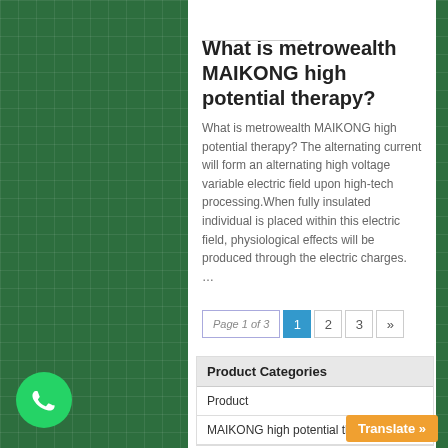What is metrowealth MAIKONG high potential therapy?
What is metrowealth MAIKONG high potential therapy? The alternating current will form an alternating high voltage variable electric field upon high-tech processing.When fully insulated individual is placed within this electric field, physiological effects will be produced through the electric charges. …
Page 1 of 3  1  2  3  »
| Product Categories |
| --- |
| Product |
| MAIKONG high potential therapy |